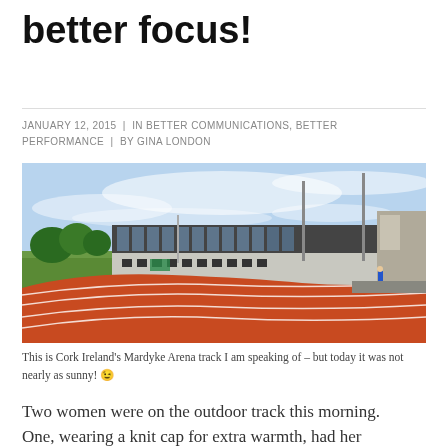better focus!
JANUARY 12, 2015  |  IN BETTER COMMUNICATIONS, BETTER PERFORMANCE  |  BY GINA LONDON
[Figure (photo): Outdoor athletics running track with red surface and white lane markings curving in the foreground. A large modern sports stadium building with glass facade is visible in the background under a partly cloudy blue sky. A person in blue clothing walks along the far side of the track. Green trees and light poles are visible.]
This is Cork Ireland's Mardyke Arena track I am speaking of – but today it was not nearly as sunny! 😉
Two women were on the outdoor track this morning. One, wearing a knit cap for extra warmth, had her